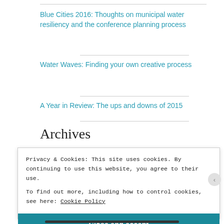Blue Cities 2016: Thoughts on municipal water resiliency and the conference planning process
Water Waves: Finding your own creative process
A Year in Review: The ups and downs of 2015
Archives
Privacy & Cookies: This site uses cookies. By continuing to use this website, you agree to their use.
To find out more, including how to control cookies, see here: Cookie Policy
Close and accept